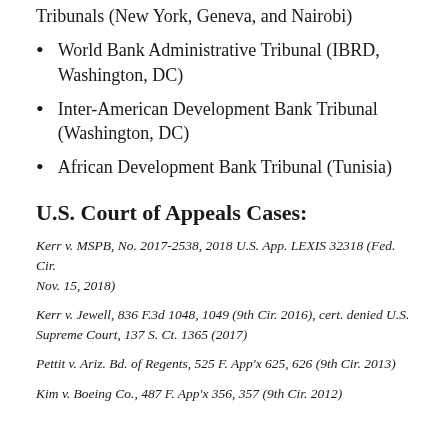Tribunals (New York, Geneva, and Nairobi)
World Bank Administrative Tribunal (IBRD, Washington, DC)
Inter-American Development Bank Tribunal (Washington, DC)
African Development Bank Tribunal (Tunisia)
U.S. Court of Appeals Cases:
Kerr v. MSPB, No. 2017-2538, 2018 U.S. App. LEXIS 32318 (Fed. Cir. Nov. 15, 2018)
Kerr v. Jewell, 836 F.3d 1048, 1049 (9th Cir. 2016), cert. denied U.S. Supreme Court, 137 S. Ct. 1365 (2017)
Pettit v. Ariz. Bd. of Regents, 525 F. App'x 625, 626 (9th Cir. 2013)
Kim v. Boeing Co., 487 F. App'x 356, 357 (9th Cir. 2012)